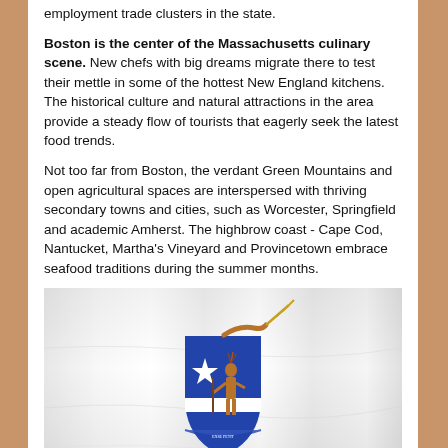employment trade clusters in the state.
Boston is the center of the Massachusetts culinary scene. New chefs with big dreams migrate there to test their mettle in some of the hottest New England kitchens. The historical culture and natural attractions in the area provide a steady flow of tourists that eagerly seek the latest food trends.
Not too far from Boston, the verdant Green Mountains and open agricultural spaces are interspersed with thriving secondary towns and cities, such as Worcester, Springfield and academic Amherst. The highbrow coast - Cape Cod, Nantucket, Martha's Vineyard and Provincetown embrace seafood traditions during the summer months.
[Figure (photo): Massachusetts state flag waving — white background with blue shield bearing a Native American figure holding a bow and arrow, a white star, and a ribbon with motto text. A bent arm holding a sword appears above the shield.]